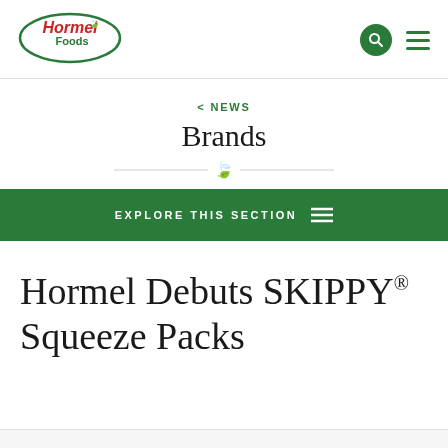[Figure (logo): Hormel Foods logo — oval green border with red 'Hormel' text and green 'Foods' text, green leaf accent]
< NEWS
Brands
EXPLORE THIS SECTION
Hormel Debuts SKIPPY® Squeeze Packs